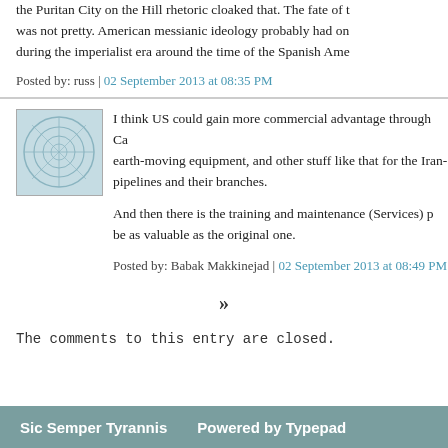the Puritan City on the Hill rhetoric cloaked that. The fate of the was not pretty. American messianic ideology probably had on during the imperialist era around the time of the Spanish Ame
Posted by: russ | 02 September 2013 at 08:35 PM
I think US could gain more commercial advantage through Ca earth-moving equipment, and other stuff like that for the Iran-I pipelines and their branches.
And then there is the training and maintenance (Services) pa be as valuable as the original one.
Posted by: Babak Makkinejad | 02 September 2013 at 08:49 PM
»
The comments to this entry are closed.
Sic Semper Tyrannis    Powered by Typepad